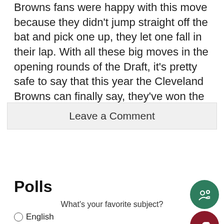Browns fans were happy with this move because they didn't jump straight off the bat and pick one up, they let one fall in their lap. With all these big moves in the opening rounds of the Draft, it's pretty safe to say that this year the Cleveland Browns can finally say, they've won the NFL draft.
Leave a Comment
Polls
What's your favorite subject?
English
Math